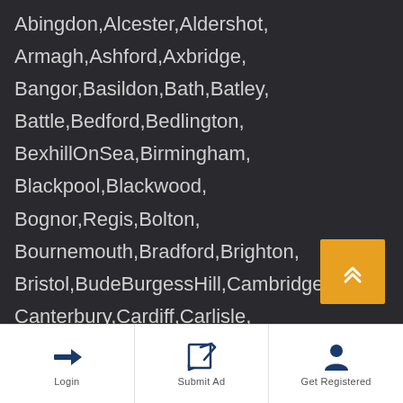Abingdon,Alcester,Aldershot, Armagh,Ashford,Axbridge, Bangor,Basildon,Bath,Batley, Battle,Bedford,Bedlington, BexhillOnSea,Birmingham, Blackpool,Blackwood, Bognor,Regis,Bolton, Bournemouth,Bradford,Brighton, Bristol,BudeBurgessHill,Cambridge, Canterbury,Cardiff,Carlisle, Chatham,Chelmsford,Cheltenham, Chertsey,Chesham,Chester,
[Figure (other): Orange scroll-to-top button with double chevron up arrow]
[Figure (other): Bottom navigation bar with Login, Submit Ad, and Get Registered buttons]